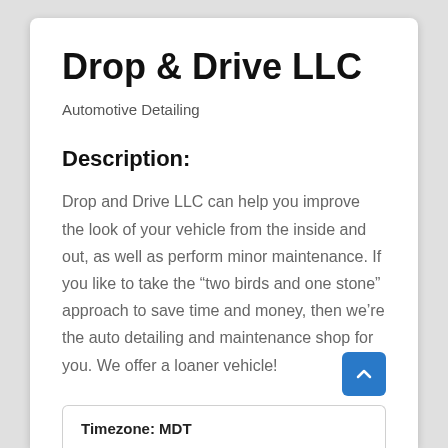Drop & Drive LLC
Automotive Detailing
Description:
Drop and Drive LLC can help you improve the look of your vehicle from the inside and out, as well as perform minor maintenance. If you like to take the "two birds and one stone" approach to save time and money, then we're the auto detailing and maintenance shop for you. We offer a loaner vehicle!
Timezone: MDT